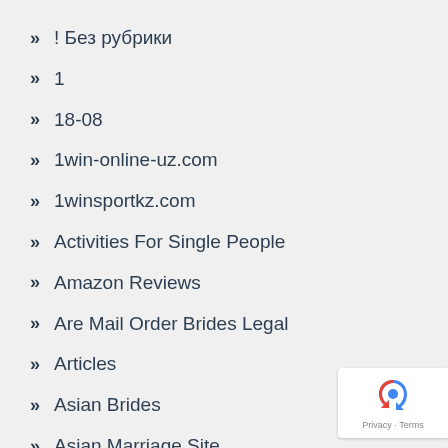! Без рубрики
1
18-08
1win-online-uz.com
1winsportkz.com
Activities For Single People
Amazon Reviews
Are Mail Order Brides Legal
Articles
Asian Brides
Asian Marriage Site